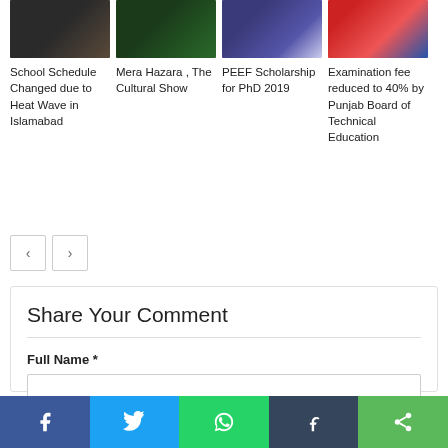[Figure (photo): Article thumbnail: School Schedule Changed due to Heat Wave in Islamabad]
School Schedule Changed due to Heat Wave in Islamabad
[Figure (photo): Article thumbnail: Mera Hazara, The Cultural Show]
Mera Hazara , The Cultural Show
[Figure (photo): Article thumbnail: PEEF Scholarship for PhD 2019]
PEEF Scholarship for PhD 2019
[Figure (photo): Article thumbnail: Examination fee reduced to 40% by Punjab Board of Technical Education]
Examination fee reduced to 40% by Punjab Board of Technical Education
< >
Share Your Comment
Full Name *